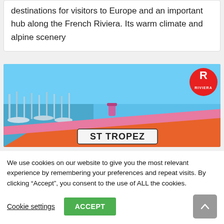destinations for visitors to Europe and an important hub along the French Riviera. Its warm climate and alpine scenery
[Figure (photo): Close-up photo of a boat with 'St Tropez' written on it in a marina with sailboats in the background and bright blue sky. A red circular logo with 'R RIVIERA' is visible in the top-right corner.]
We use cookies on our website to give you the most relevant experience by remembering your preferences and repeat visits. By clicking “Accept”, you consent to the use of ALL the cookies.